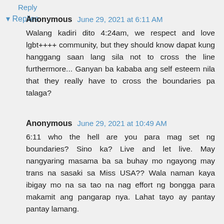Reply
Replies
Anonymous June 29, 2021 at 6:11 AM
Walang kadiri dito 4:24am, we respect and love lgbt++++ community, but they should know dapat kung hanggang saan lang sila not to cross the line furthermore... Ganyan ba kababa ang self esteem nila that they really have to cross the boundaries pa talaga?
Anonymous June 29, 2021 at 10:49 AM
6:11 who the hell are you para mag set ng boundaries? Sino ka? Live and let live. May nangyaring masama ba sa buhay mo ngayong may trans na sasaki sa Miss USA?? Wala naman kaya ibigay mo na sa tao na nag effort ng bongga para makamit ang pangarap nya. Lahat tayo ay pantay pantay lamang.